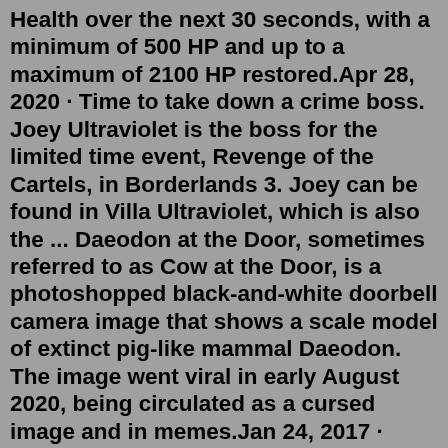Health over the next 30 seconds, with a minimum of 500 HP and up to a maximum of 2100 HP restored.Apr 28, 2020 · Time to take down a crime boss. Joey Ultraviolet is the boss for the limited time event, Revenge of the Cartels, in Borderlands 3. Joey can be found in Villa Ultraviolet, which is also the ... Daeodon at the Door, sometimes referred to as Cow at the Door, is a photoshopped black-and-white doorbell camera image that shows a scale model of extinct pig-like mammal Daeodon. The image went viral in early August 2020, being circulated as a cursed image and in memes.Jan 24, 2017 · Your biggest worry is the giant mosquito-like bugs she directs to attack you. Your best tactic against these insects is to use your knife or handgun to take them out. The Burner takes too long to ... Search: Ark Valguero Boss Fight Tributes. 24 as a team in 2020 alone! A huge thanks to the generous ARK community for helping us do some good for children in need Click to get the latest Pop Lists content COM - VALGUERO - SEASON 23 - MAIN CLUSTER - 221 To...